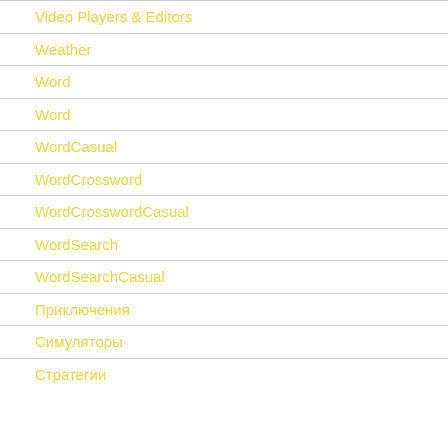Video Players & Editors
Weather
Word
Word
WordCasual
WordCrossword
WordCrosswordCasual
WordSearch
WordSearchCasual
Приключения
Симуляторы
Стратегии